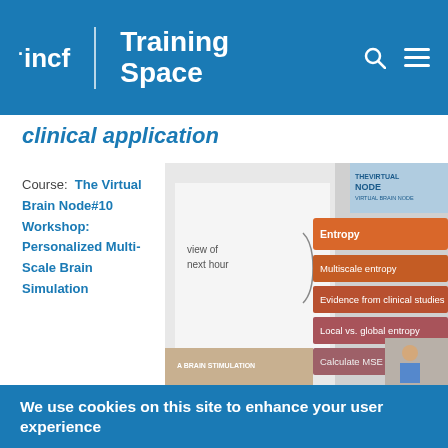INCF Training Space
clinical application
Course:  The Virtual Brain Node#10 Workshop: Personalized Multi-Scale Brain Simulation
[Figure (screenshot): Screenshot of a presentation slide showing a menu with items: Entropy, Multiscale entropy, Evidence from clinical studies, Local vs. global entropy, Calculate MSE yourself with TVB. Text on left says 'view of next hour'. Right side shows The Virtual Brain Node workshop branding.]
We use cookies on this site to enhance your user experience
By clicking any link or button on the website the visitor accepts the cookie policy. More info
Accept
No, thanks